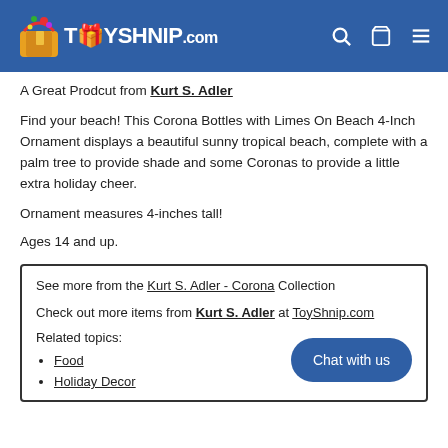TOYSHNIP.COM
A Great Prodcut from Kurt S. Adler
Find your beach! This Corona Bottles with Limes On Beach 4-Inch Ornament displays a beautiful sunny tropical beach, complete with a palm tree to provide shade and some Coronas to provide a little extra holiday cheer.
Ornament measures 4-inches tall!
Ages 14 and up.
See more from the Kurt S. Adler - Corona Collection
Check out more items from Kurt S. Adler at ToyShnip.com
Related topics:
Food
Holiday Decor